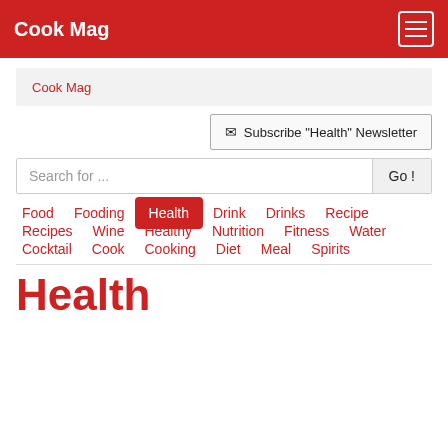Cook Mag
Cook Mag
Subscribe "Health" Newsletter
Search for ...
Food
Fooding
Health
Drink
Drinks
Recipe
Recipes
Wine
Healthy
Nutrition
Fitness
Water
Cocktail
Cook
Cooking
Diet
Meal
Spirits
Health